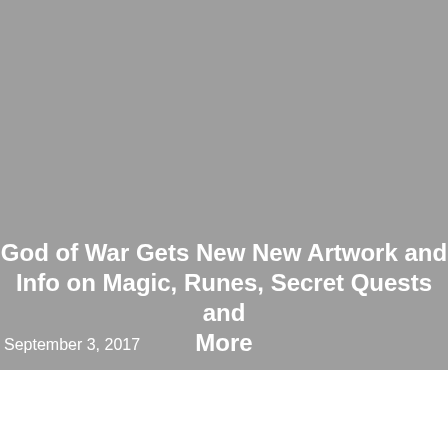[Figure (photo): Gray background image occupying the top portion of the page]
God of War Gets New New Artwork and Info on Magic, Runes, Secret Quests and More
September 3, 2017